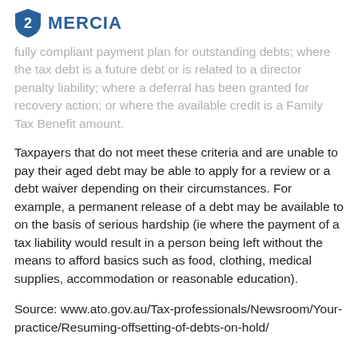MERCIA
fully compliant payment plan for outstanding debts; where the tax debt is a future debt or is related to a director penalty liability; where a deferral has been granted for recovery action; or where the available credit is a Family Tax Benefit amount.
Taxpayers that do not meet these criteria and are unable to pay their aged debt may be able to apply for a review or a debt waiver depending on their circumstances. For example, a permanent release of a debt may be available to on the basis of serious hardship (ie where the payment of a tax liability would result in a person being left without the means to afford basics such as food, clothing, medical supplies, accommodation or reasonable education).
Source: www.ato.gov.au/Tax-professionals/Newsroom/Your-practice/Resuming-offsetting-of-debts-on-hold/